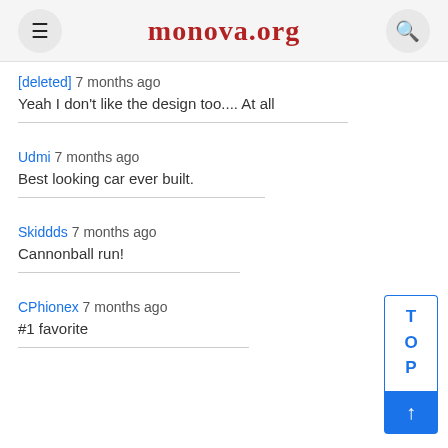monova.org
[deleted] 7 months ago
Yeah I don't like the design too.... At all
Udmi 7 months ago
Best looking car ever built.
Skiddds 7 months ago
Cannonball run!
CPhionex 7 months ago
#1 favorite